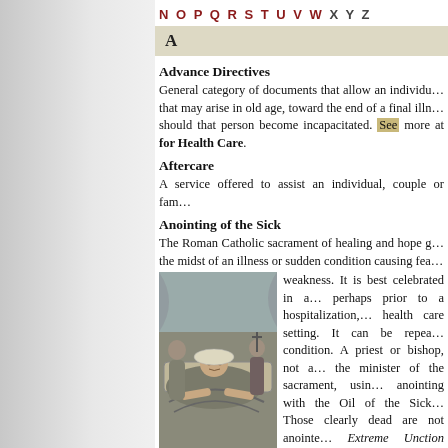N O P Q R S T U V W X Y Z
A
Advance Directives
General category of documents that allow an individual to address issues that may arise in old age, toward the end of a final illness, or at any time should that person become incapacitated. See more at ... for Health Care.
Aftercare
A service offered to assist an individual, couple or family...
Anointing of the Sick
The Roman Catholic sacrament of healing and hope given to those who are in the midst of an illness or sudden condition causing fear of death or serious weakness. It is best celebrated in a church setting, perhaps prior to a hospitalization, or in any health care setting. It can be repeated with each new serious condition. A priest or bishop, not a deacon, is the minister of the sacrament, using the rite of anointing with the Oil of the Sick and special prayers. Those clearly dead are not anointed. Called Extreme Unction before Vatican Council II, and generally as the Last Rites often in a way that does not adequately describe the Church's full ministry to the dying, which includes frequent reception of Communion. See Viaticum.
[Figure (illustration): Grayscale illustration of a person lying in a bed, possibly being anointed or receiving last rites, with attendants nearby.]